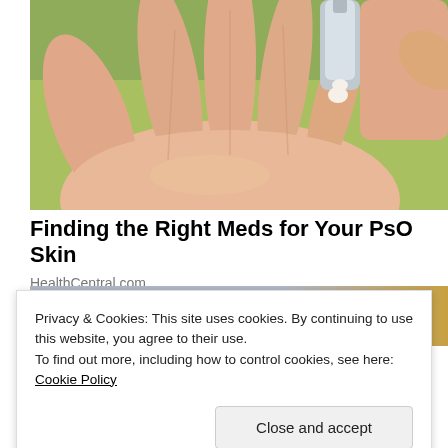[Figure (photo): Close-up photo of a hand with fingers open, palm facing up, while another hand squeezes cream or ointment from a metal tube onto the palm. Green blurred background.]
Finding the Right Meds for Your PsO Skin
HealthCentral.com
[Figure (photo): Partially visible second photo below, with blue and orange/yellow tones, obscured by cookie banner overlay.]
Privacy & Cookies: This site uses cookies. By continuing to use this website, you agree to their use.
To find out more, including how to control cookies, see here: Cookie Policy
Close and accept